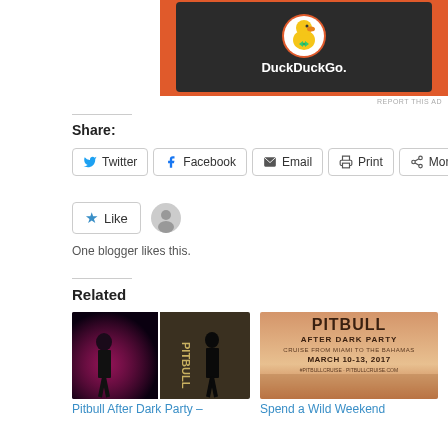[Figure (screenshot): DuckDuckGo app screenshot on an orange/dark background showing the DuckDuckGo duck logo and name]
REPORT THIS AD
Share:
Twitter  Facebook  Email  Print  More
Like  [avatar icon]
One blogger likes this.
Related
[Figure (photo): Pitbull performing on stage at a concert, two images side by side]
[Figure (photo): Pitbull After Dark Party cruise promotional image - Cruise from Miami to the Bahamas, March 10-13, 2017]
Pitbull After Dark Party –
Spend a Wild Weekend